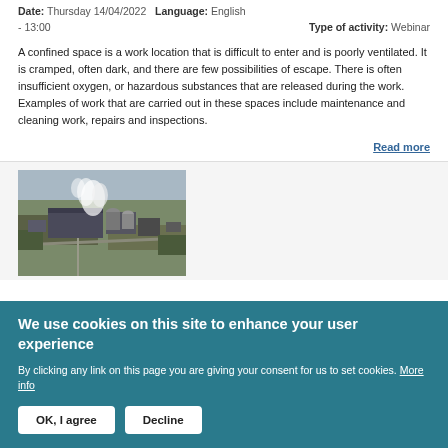Date: Thursday 14/04/2022  Language: English
- 13:00  Type of activity: Webinar
A confined space is a work location that is difficult to enter and is poorly ventilated. It is cramped, often dark, and there are few possibilities of escape. There is often insufficient oxygen, or hazardous substances that are released during the work. Examples of work that are carried out in these spaces include maintenance and cleaning work, repairs and inspections.
Read more
[Figure (photo): Aerial photograph of an industrial facility with buildings, silos, and smoke/steam rising from the site.]
We use cookies on this site to enhance your user experience
By clicking any link on this page you are giving your consent for us to set cookies. More info
OK, I agree  Decline